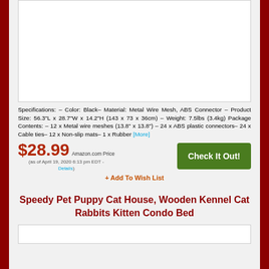[Figure (photo): Product image placeholder (white box)]
Specifications: – Color: Black– Material: Metal Wire Mesh, ABS Connector – Product Size: 56.3"L x 28.7"W x 14.2"H (143 x 73 x 36cm) – Weight: 7.5lbs (3.4kg) Package Contents: – 12 x Metal wire meshes (13.8" x 13.8") – 24 x ABS plastic connectors– 24 x Cable ties– 12 x Non-slip mats– 1 x Rubber [More]
$28.99 Amazon.com Price (as of April 19, 2020 6:13 pm EDT - Details)
+ Add To Wish List
Speedy Pet Puppy Cat House, Wooden Kennel Cat Rabbits Kitten Condo Bed
[Figure (photo): Second product image placeholder (white box, partial)]